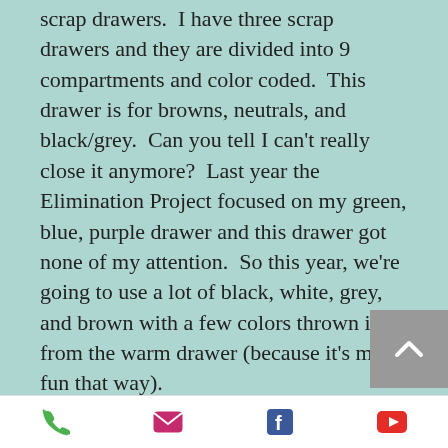scrap drawers.  I have three scrap drawers and they are divided into 9 compartments and color coded.  This drawer is for browns, neutrals, and black/grey.  Can you tell I can't really close it anymore?  Last year the Elimination Project focused on my green, blue, purple drawer and this drawer got none of my attention.  So this year, we're going to use a lot of black, white, grey, and brown with a few colors thrown in from the warm drawer (because it's more fun that way).
This week we are going to be making a 9" finished block.  The cut list is as
[Figure (other): Back to top button - grey square with white upward chevron arrow]
Footer navigation bar with phone, email, Facebook, and YouTube icons